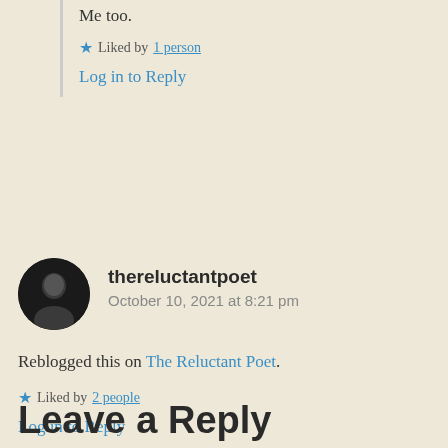Me too.
★ Liked by 1 person
Log in to Reply
thereluctantpoet
October 10, 2021 at 8:21 pm
Reblogged this on The Reluctant Poet.
★ Liked by 2 people
Log in to Reply
Leave a Reply